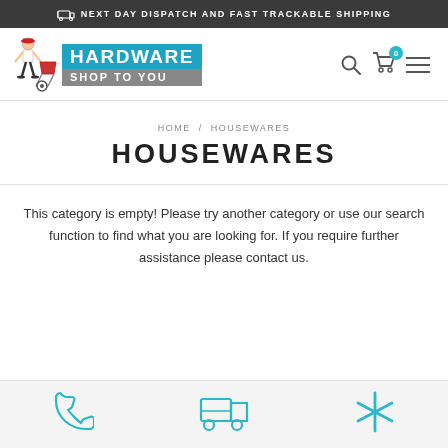NEXT DAY DISPATCH AND FAST TRACKABLE SHIPPING
[Figure (logo): Hardware Shop To You logo with man pushing wheelbarrow, blue top bar with HARDWARE text, grey bottom bar with SHOP TO YOU text]
HOME / HOUSEWARES
HOUSEWARES
This category is empty! Please try another category or use our search function to find what you are looking for. If you require further assistance please contact us.
[Figure (illustration): Footer icons: phone icon, truck/delivery icon, asterisk/star icon in teal color]